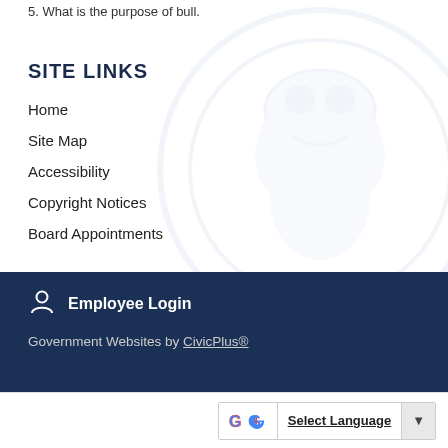5. What is the purpose of bull.
SITE LINKS
Home
Site Map
Accessibility
Copyright Notices
Board Appointments
Employee Login
Government Websites by CivicPlus®
Select Language